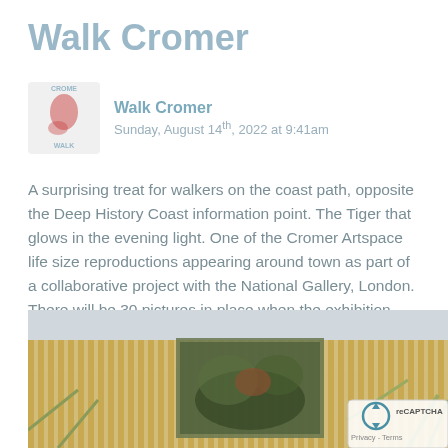Walk Cromer
Walk Cromer
Sunday, August 14th, 2022 at 9:41am
A surprising treat for walkers on the coast path, opposite the Deep History Coast information point. The Tiger that glows in the evening light. One of the Cromer Artspace life size reproductions appearing around town as part of a collaborative project with the National Gallery, London. There will be 30 pictures in place when the exhibition opens on 2 September
[Figure (photo): Outdoor wooden slatted fence/screen structure with a painting or artwork panel mounted in the center, surrounded by grass/vegetation, against a grey sky. A reCAPTCHA badge appears in the lower right corner.]